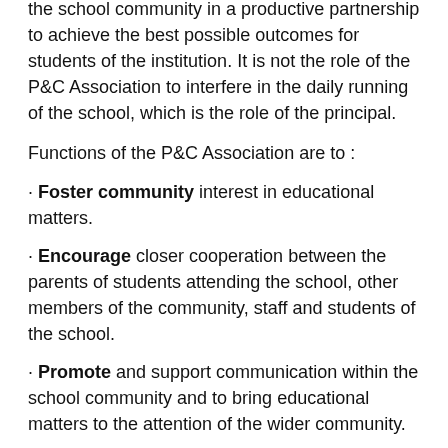The P&C Association is there to work with the principal and the school community in a productive partnership to achieve the best possible outcomes for students of the institution. It is not the role of the P&C Association to interfere in the daily running of the school, which is the role of the principal.
Functions of the P&C Association are to :
Foster community interest in educational matters.
Encourage closer cooperation between the parents of students attending the school, other members of the community, staff and students of the school.
Promote and support communication within the school community and to bring educational matters to the attention of the wider community.
Provide or assist in the provision of financial or other ...